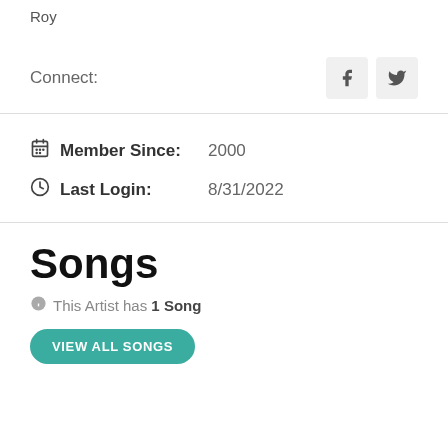Roy
Connect:
Member Since: 2000
Last Login: 8/31/2022
Songs
This Artist has 1 Song
VIEW ALL SONGS